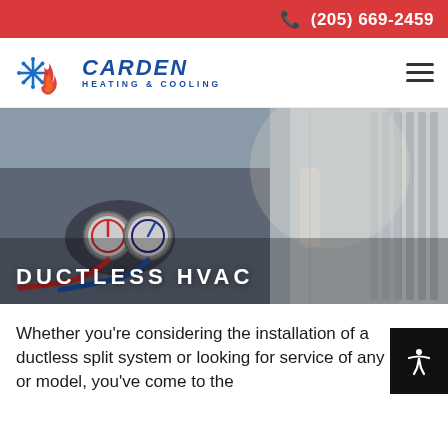(205) 669-2459
[Figure (logo): Carden Heating & Cooling logo with snowflake and flame icon]
[Figure (photo): HVAC technician working on ductless mini-split equipment with gauges and hoses]
DUCTLESS HVAC
Whether you’re considering the installation of a ductless split system or looking for service of any make or model, you’ve come to the